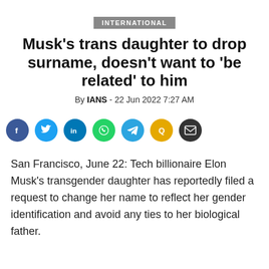INTERNATIONAL
Musk's trans daughter to drop surname, doesn't want to 'be related' to him
By IANS - 22 Jun 2022 7:27 AM
[Figure (infographic): Social media share buttons: Facebook, Twitter, LinkedIn, WhatsApp, Telegram, Quora, Email]
San Francisco, June 22: Tech billionaire Elon Musk's transgender daughter has reportedly filed a request to change her name to reflect her gender identification and avoid any ties to her biological father.